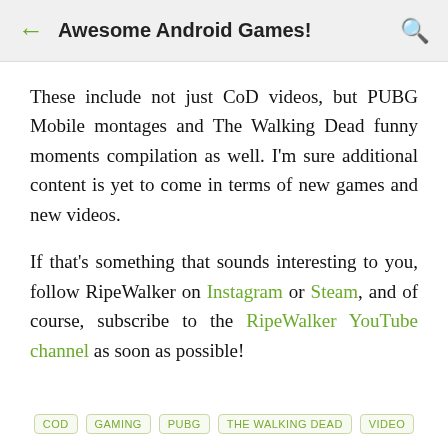← Awesome Android Games!
These include not just CoD videos, but PUBG Mobile montages and The Walking Dead funny moments compilation as well. I'm sure additional content is yet to come in terms of new games and new videos.
If that's something that sounds interesting to you, follow RipeWalker on Instagram or Steam, and of course, subscribe to the RipeWalker YouTube channel as soon as possible!
COD
GAMING
PUBG
THE WALKING DEAD
VIDEO